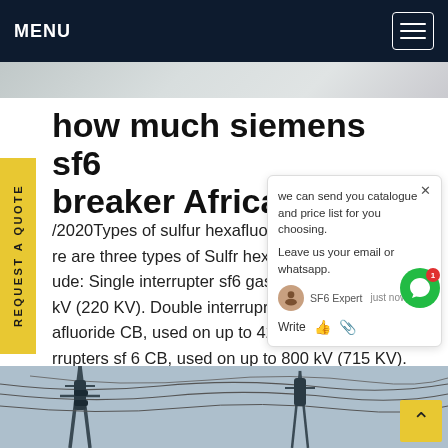MENU
how much siemens sf6 breaker Africa
/2020Types of sulfur hexafluoride breaker There are three types of Sulfr hexafluoride h… lude: Single interrupter sf6 gas CB … p to kV (220 KV). Double interrupter … afluoride CB, used on up to 420 kV (100 KV). Four rrupters sf 6 CB, used on up to 800 kV (715 KV). In gh-voltage circuit breaker like insulating gas, rent interruption is achieved byGet price
[Figure (screenshot): Chat popup overlay showing: 'we can send you catalogue and price list for you choosing. Leave us your email or whatsapp.' with SF6 Expert label and 'just now', and a Write field with icons.]
[Figure (photo): Bottom photo showing electrical transmission tower infrastructure with wires against sky.]